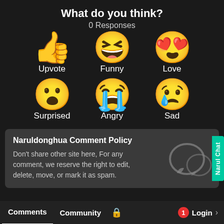What do you think?
0 Responses
[Figure (infographic): Six emoji reaction buttons arranged in two rows: Upvote (thumbs up), Funny (laughing face with tongue), Love (heart eyes face), Surprised (surprised face), Angry (crying angry face), Sad (sad face with tear). Each emoji has a label beneath it.]
Naruldonghua Comment Policy
Don't share other site here, For any comment, we reserve the right to edit, delete, move, or mark it as spam.
Comments   Community   🔒   1   Login